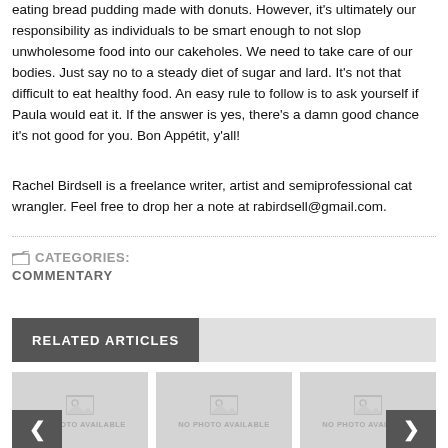eating bread pudding made with donuts. However, it's ultimately our responsibility as individuals to be smart enough to not slop unwholesome food into our cakeholes. We need to take care of our bodies. Just say no to a steady diet of sugar and lard. It's not that difficult to eat healthy food. An easy rule to follow is to ask yourself if Paula would eat it. If the answer is yes, there's a damn good chance it's not good for you. Bon Appétit, y'all!
Rachel Birdsell is a freelance writer, artist and semiprofessional cat wrangler. Feel free to drop her a note at rabirdsell@gmail.com.
CATEGORIES: COMMENTARY
RELATED ARTICLES
[Figure (photo): No photo available placeholder - left thumbnail]
[Figure (photo): No photo available placeholder - center thumbnail]
[Figure (photo): No photo available placeholder - right thumbnail]